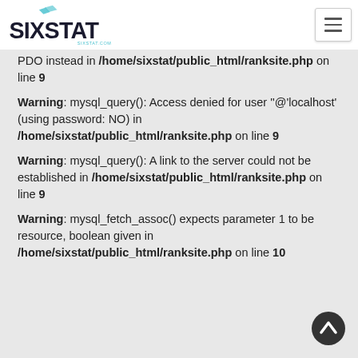SIXSTAT logo and navigation
PDO instead in /home/sixstat/public_html/ranksite.php on line 9
Warning: mysql_query(): Access denied for user ''@'localhost' (using password: NO) in /home/sixstat/public_html/ranksite.php on line 9
Warning: mysql_query(): A link to the server could not be established in /home/sixstat/public_html/ranksite.php on line 9
Warning: mysql_fetch_assoc() expects parameter 1 to be resource, boolean given in /home/sixstat/public_html/ranksite.php on line 10